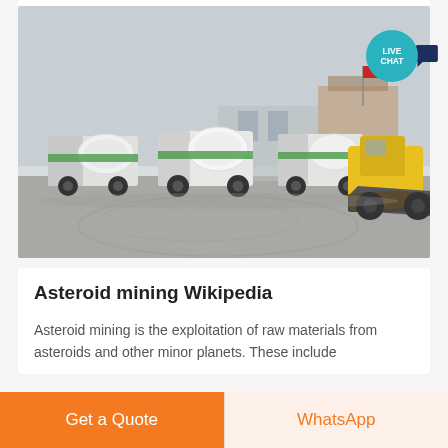[Figure (photo): Industrial scene showing several green and white cement mixer trucks parked in a large open yard, with a yellow front-end loader in the right foreground. Buildings and a red flag visible in background. Overcast sky.]
Asteroid mining Wikipedia
Asteroid mining is the exploitation of raw materials from asteroids and other minor planets. These include